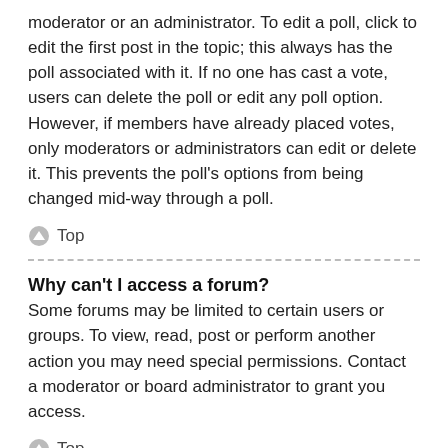moderator or an administrator. To edit a poll, click to edit the first post in the topic; this always has the poll associated with it. If no one has cast a vote, users can delete the poll or edit any poll option. However, if members have already placed votes, only moderators or administrators can edit or delete it. This prevents the poll's options from being changed mid-way through a poll.
⬆ Top
Why can't I access a forum? Some forums may be limited to certain users or groups. To view, read, post or perform another action you may need special permissions. Contact a moderator or board administrator to grant you access.
⬆ Top
Why can't I add attachments?
Attachment permissions are granted on a per forum, per group, or per user basis. The board administrator may not have allowed attachments to be added for the specific forum